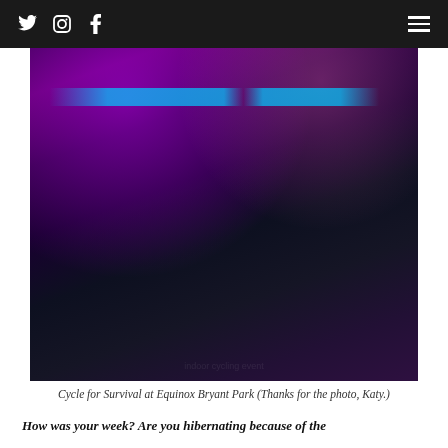Twitter Instagram Facebook [menu]
[Figure (photo): Group of people cycling indoors at Cycle for Survival event at Equinox Bryant Park, colorful stage lighting with purple, pink, and blue hues, participants wearing green tank tops, energetic atmosphere]
Cycle for Survival at Equinox Bryant Park (Thanks for the photo, Katy.)
How was your week? Are you hibernating because of the